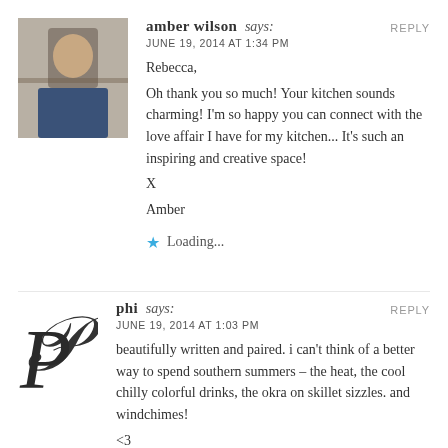REPLY
[Figure (photo): Avatar photo of Amber Wilson, a person standing outdoors]
amber wilson says:
JUNE 19, 2014 AT 1:34 PM
Rebecca,
Oh thank you so much! Your kitchen sounds charming! I'm so happy you can connect with the love affair I have for my kitchen... It's such an inspiring and creative space!
X
Amber
★ Loading...
REPLY
[Figure (illustration): Decorative cursive letter P avatar for user phi]
phi says:
JUNE 19, 2014 AT 1:03 PM
beautifully written and paired. i can't think of a better way to spend southern summers – the heat, the cool chilly colorful drinks, the okra on skillet sizzles. and windchimes!